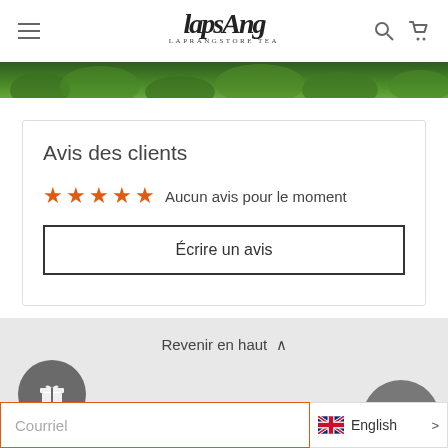Laprangstore Tea — navigation header with hamburger menu, logo, search and cart icons
[Figure (photo): Green foliage/tea plant strip at top of page]
Avis des clients
☆☆☆☆☆ Aucun avis pour le moment
Écrire un avis
Revenir en haut ^
Courriel
English